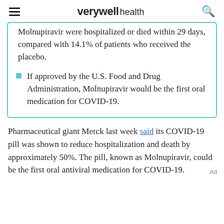verywell health
Molnupiravir were hospitalized or died within 29 days, compared with 14.1% of patients who received the placebo.
If approved by the U.S. Food and Drug Administration, Molnupiravir would be the first oral medication for COVID-19.
Pharmaceutical giant Merck last week said its COVID-19 pill was shown to reduce hospitalization and death by approximately 50%. The pill, known as Molnupiravir, could be the first oral antiviral medication for COVID-19.